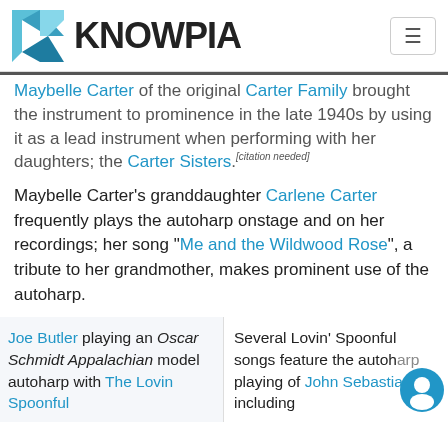KNOWPIA
Maybelle Carter of the original Carter Family brought the instrument to prominence in the late 1940s by using it as a lead instrument when performing with her daughters; the Carter Sisters.[citation needed]
Maybelle Carter's granddaughter Carlene Carter frequently plays the autoharp onstage and on her recordings; her song "Me and the Wildwood Rose", a tribute to her grandmother, makes prominent use of the autoharp.
Joe Butler playing an Oscar Schmidt Appalachian model autoharp with The Lovin Spoonful
Several Lovin' Spoonful songs feature the autoharp playing of John Sebastian, including